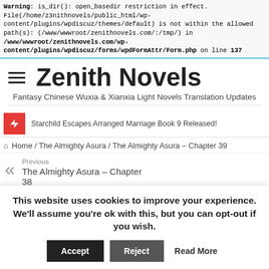Warning: is_dir(): open_basedir restriction in effect. File(/home/z3nithnovels/public_html/wp-content/plugins/wpdiscuz/themes/default) is not within the allowed path(s): (/www/wwwroot/zenithnovels.com/:/tmp/) in /www/wwwroot/zenithnovels.com/wp-content/plugins/wpdiscuz/forms/wpdFormAttr/Form.php on line 137
Zenith Novels
Fantasy Chinese Wuxia & Xianxia Light Novels Translation Updates
Starchild Escapes Arranged Marriage Book 9 Released!
Home / The Almighty Asura / The Almighty Asura – Chapter 39
Previous
The Almighty Asura – Chapter 38
This website uses cookies to improve your experience. We'll assume you're ok with this, but you can opt-out if you wish.